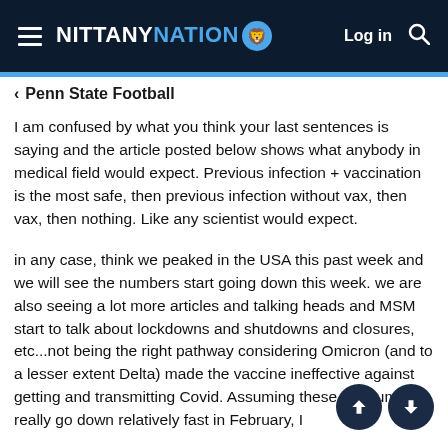NITTANY NATION  Log in
< Penn State Football
I am confused by what you think your last sentences is saying and the article posted below shows what anybody in medical field would expect. Previous infection + vaccination is the most safe, then previous infection without vax, then vax, then nothing. Like any scientist would expect.
in any case, think we peaked in the USA this past week and we will see the numbers start going down this week. we are also seeing a lot more articles and talking heads and MSM start to talk about lockdowns and shutdowns and closures, etc...not being the right pathway considering Omicron (and to a lesser extent Delta) made the vaccine ineffective against getting and transmitting Covid. Assuming these the numbers really go down relatively fast in February, I